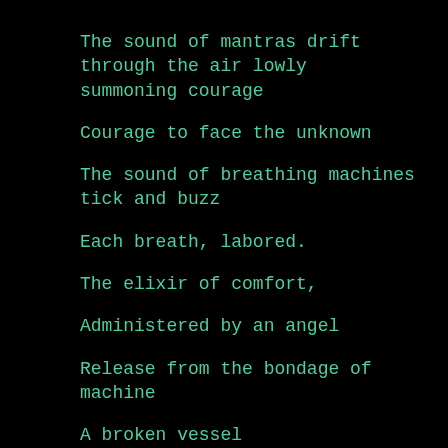The sound of mantras drift through the air lowly summoning courage
Courage to face the unknown
The sound of breathing machines tick and buzz
Each breath, labored.
The elixir of comfort,
Administered by an angel
Release from the bondage of machine
A broken vessel